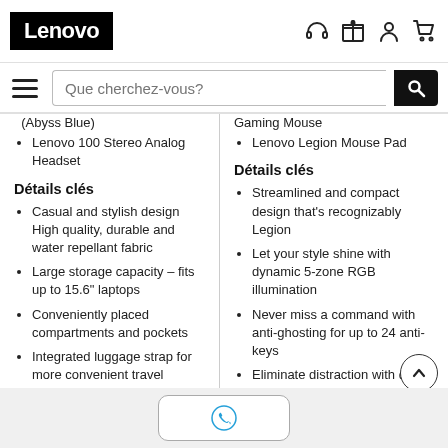Lenovo
Que cherchez-vous?
(Abyss Blue)
Lenovo 100 Stereo Analog Headset
Détails clés
Casual and stylish design High quality, durable and water repellant fabric
Large storage capacity – fits up to 15.6" laptops
Conveniently placed compartments and pockets
Integrated luggage strap for more convenient travel
Gaming Mouse
Lenovo Legion Mouse Pad
Détails clés
Streamlined and compact design that's recognizably Legion
Let your style shine with dynamic 5-zone RGB illumination
Never miss a command with anti-ghosting for up to 24 anti-keys
Eliminate distraction with quiet key membrane switches